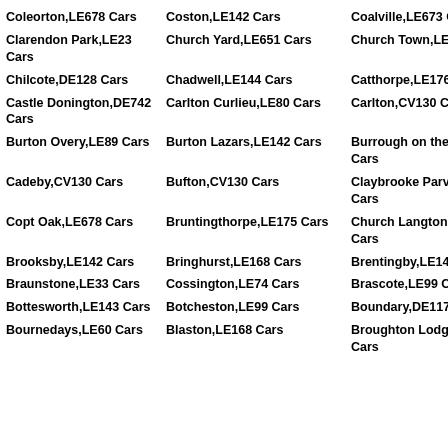Coleorton,LE678 Cars
Coston,LE142 Cars
Coalville,LE673 Cars
Clarendon Park,LE23 Cars
Church Yard,LE651 Cars
Church Town,LE678 Cars
Chilcote,DE128 Cars
Chadwell,LE144 Cars
Catthorpe,LE176 Cars
Castle Donington,DE742 Cars
Carlton Curlieu,LE80 Cars
Carlton,CV130 Cars
Burton Overy,LE89 Cars
Burton Lazars,LE142 Cars
Burrough on the Hill,LE142 Cars
Cadeby,CV130 Cars
Bufton,CV130 Cars
Claybrooke Parva,LE175 Cars
Copt Oak,LE678 Cars
Bruntingthorpe,LE175 Cars
Church Langton,LE167 Cars
Brooksby,LE142 Cars
Bringhurst,LE168 Cars
Brentingby,LE144 Cars
Braunstone,LE33 Cars
Cossington,LE74 Cars
Brascote,LE99 Cars
Bottesworth,LE143 Cars
Botcheston,LE99 Cars
Boundary,DE117 Cars
Bournedays,LE60 Cars
Blaston,LE168 Cars
Broughton Lodges,LE143 Cars